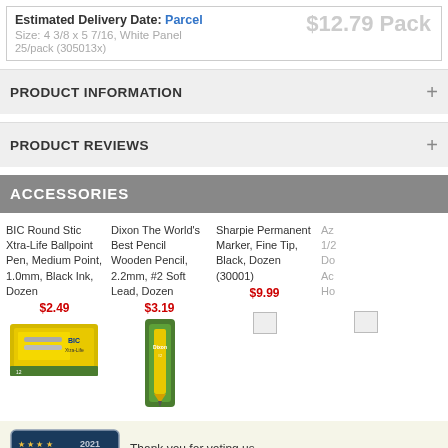Estimated Delivery Date: Parcel  $12.79 Pack
Size: 4 3/8 x 5 7/16, White Panel
25/pack (305013x)
PRODUCT INFORMATION +
PRODUCT REVIEWS +
ACCESSORIES
BIC Round Stic Xtra-Life Ballpoint Pen, Medium Point, 1.0mm, Black Ink, Dozen
$2.49
Dixon The World's Best Pencil Wooden Pencil, 2.2mm, #2 Soft Lead, Dozen
$3.19
Sharpie Permanent Marker, Fine Tip, Black, Dozen (30001)
$9.99
[Figure (photo): BIC Round Stic Xtra-Life Ballpoint Pen product image - box of pens on yellow/green background]
[Figure (photo): Dixon wooden pencil product image - yellow pencil in green packaging]
[Figure (photo): Broken/missing image placeholder for Sharpie product]
[Figure (photo): Broken/missing image placeholder for Az product]
Thank you for voting us
America's Best Customer Service 2021
Office Supply Category — Two Years Running.
[Figure (logo): Best Customer Service 2021 award badge with Newsweek and statista logos]